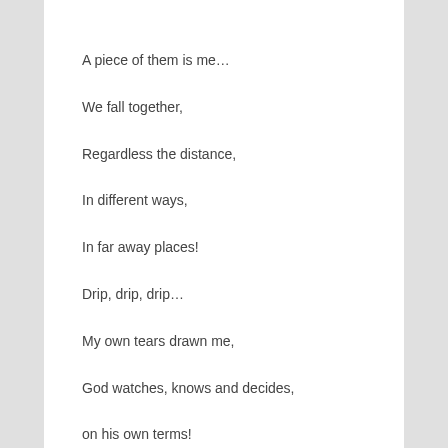A piece of them is me…
We fall together,
Regardless the distance,
In different ways,
In far away places!
Drip, drip, drip…
My own tears drawn me,
God watches, knows and decides,
on his own terms!
Drip, drip, drip…